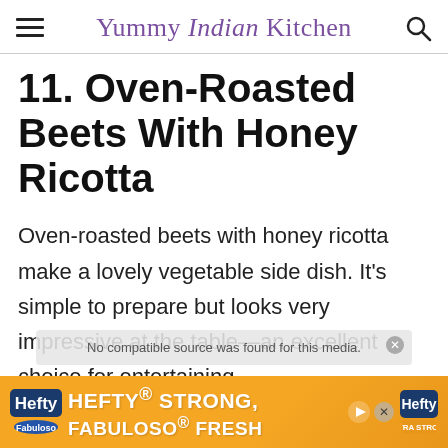Yummy Indian Kitchen
11. Oven-Roasted Beets With Honey Ricotta
Oven-roasted beets with honey ricotta make a lovely vegetable side dish. It's simple to prepare but looks very impressive at the table—an excellent choice for entertaining
[Figure (screenshot): Video player overlay showing 'No compatible source was found for this media.']
[Figure (photo): Hefty advertisement banner: HEFTY STRONG, FABULOSO FRESH with Hefty and Fabuloso logos on orange background]